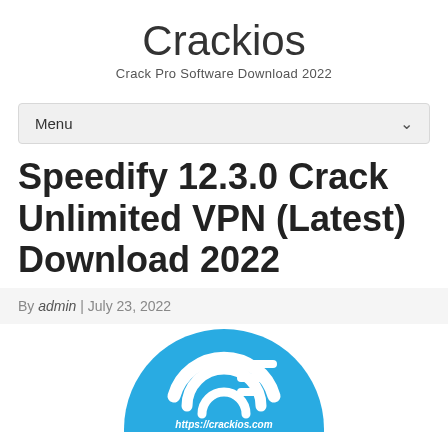Crackios
Crack Pro Software Download 2022
Menu
Speedify 12.3.0 Crack Unlimited VPN (Latest) Download 2022
By admin | July 23, 2022
[Figure (logo): Speedify blue circular logo with stylized arrow/signal icon and text https://crackios.com at the bottom]